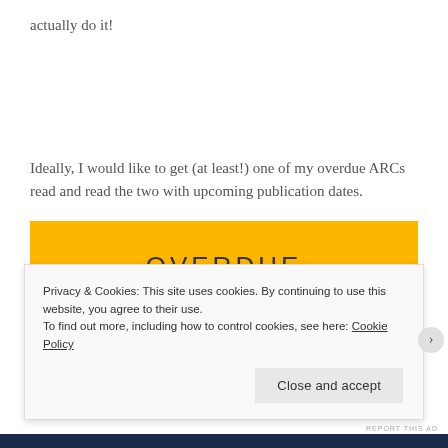actually do it!
Ideally, I would like to get (at least!) one of my overdue ARCs read and read the two with upcoming publication dates.
OVERDUE
Privacy & Cookies: This site uses cookies. By continuing to use this website, you agree to their use.
To find out more, including how to control cookies, see here: Cookie Policy